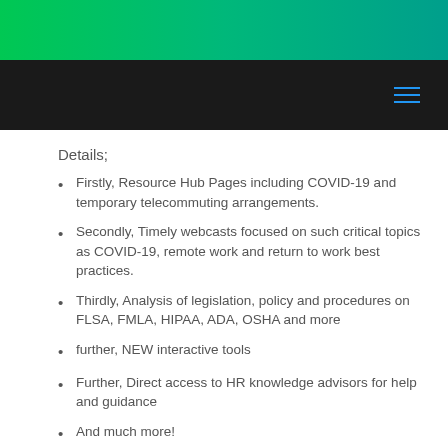Details;
Firstly, Resource Hub Pages including COVID-19 and temporary telecommuting arrangements.
Secondly, Timely webcasts focused on such critical topics as COVID-19, remote work and return to work best practices.
Thirdly, Analysis of legislation, policy and procedures on FLSA, FMLA, HIPAA, ADA, OSHA and more
further, NEW interactive tools
Further, Direct access to HR knowledge advisors for help and guidance
And much more!